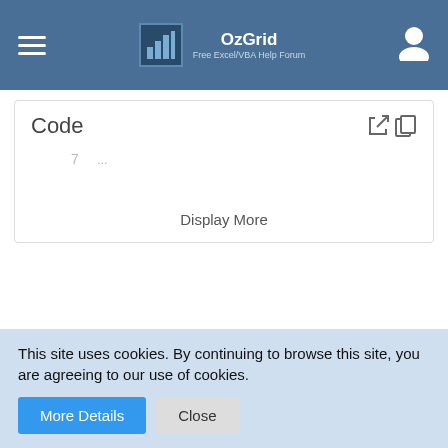OzGrid — Free Excel/VBA Help Forum
Code
7
Display More
royUK
Super Moderator
This site uses cookies. By continuing to browse this site, you are agreeing to our use of cookies.
More Details
Close